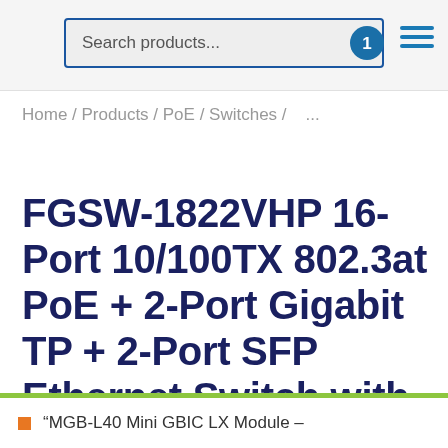Search products...
Home / Products / PoE / Switches / ...
FGSW-1822VHP 16-Port 10/100TX 802.3at PoE + 2-Port Gigabit TP + 2-Port SFP Ethernet Switch with LCD PoE Monitor
“MGB-L40 Mini GBIC LX Module –